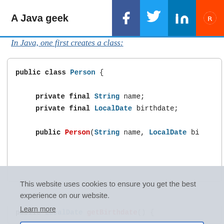A Java geek
In Java, one first creates a class:
[Figure (screenshot): Java code block showing public class Person with private final String name, private final LocalDate birthdate, and partial constructor public Person(String name, LocalDate bi...]
This website uses cookies to ensure you get the best experience on our website.
Learn more
Got it!
[Figure (screenshot): Partial code line at bottom: public LocalDate getBirthdate() {]